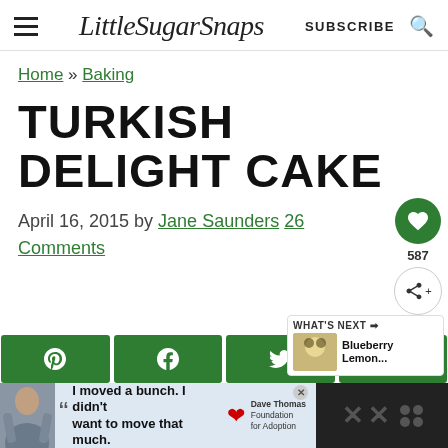LittleSugarSnaps  SUBSCRIBE
Home » Baking
TURKISH DELIGHT CAKE
April 16, 2015 by Jane Saunders 26 Comments
[Figure (screenshot): Social share buttons: Pinterest, Facebook, Twitter, Email (dark green)]
[Figure (screenshot): Advertisement bar at bottom: Dave Thomas Foundation for Adoption ad with person photo and quote 'I moved a bunch. I didn't want to move that much.']